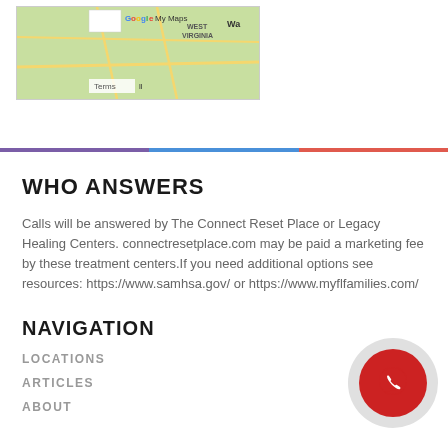[Figure (map): Google My Maps screenshot showing West Virginia area with yellow road lines on green background, Terms label visible at bottom left]
WHO ANSWERS
Calls will be answered by The Connect Reset Place or Legacy Healing Centers. connectresetplace.com may be paid a marketing fee by these treatment centers.If you need additional options see resources: https://www.samhsa.gov/ or https://www.myflfamilies.com/
NAVIGATION
LOCATIONS
ARTICLES
ABOUT